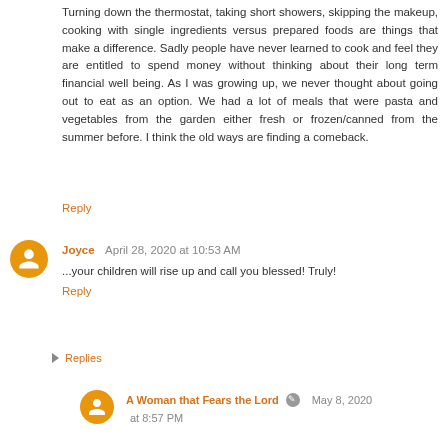Turning down the thermostat, taking short showers, skipping the makeup, cooking with single ingredients versus prepared foods are things that make a difference. Sadly people have never learned to cook and feel they are entitled to spend money without thinking about their long term financial well being. As I was growing up, we never thought about going out to eat as an option. We had a lot of meals that were pasta and vegetables from the garden either fresh or frozen/canned from the summer before. I think the old ways are finding a comeback.
Reply
Joyce  April 28, 2020 at 10:53 AM
...your children will rise up and call you blessed! Truly!
Reply
▸ Replies
A Woman that Fears the Lord  May 8, 2020 at 8:57 PM